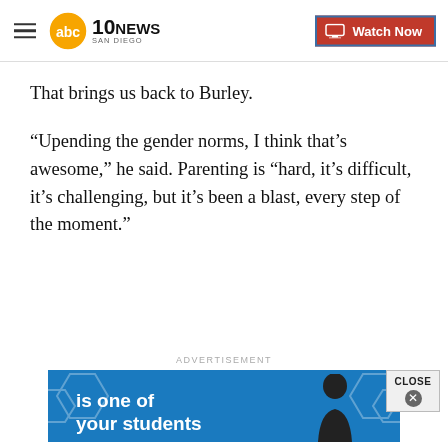ABC 10News San Diego — Watch Now
That brings us back to Burley.
“Upending the gender norms, I think that’s awesome,” he said. Parenting is "hard, it’s difficult, it’s challenging, but it’s been a blast, every step of the moment.”
ADVERTISEMENT
[Figure (other): Blue advertisement banner with hexagon pattern, text 'is one of your students', and person silhouette. CLOSE button overlay.]